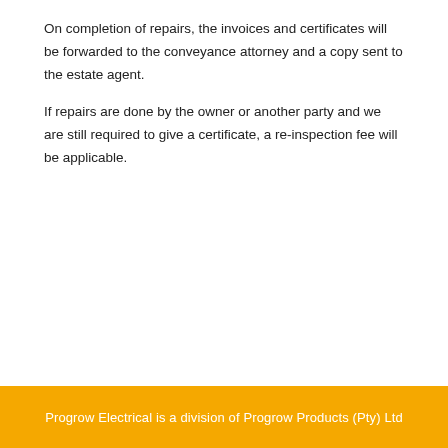On completion of repairs, the invoices and certificates will be forwarded to the conveyance attorney and a copy sent to the estate agent.
If repairs are done by the owner or another party and we are still required to give a certificate, a re-inspection fee will be applicable.
Progrow Electrical is a division of Progrow Products (Pty) Ltd